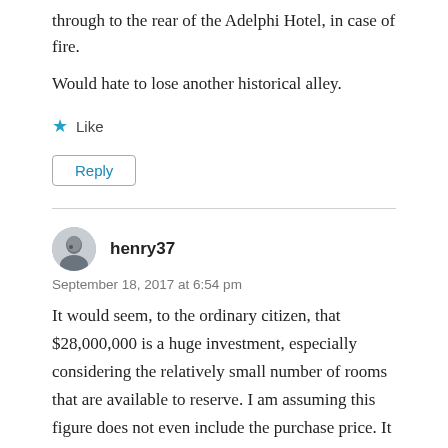through to the rear of the Adelphi Hotel, in case of fire.
Would hate to lose another historical alley.
Like
Reply
henry37
September 18, 2017 at 6:54 pm
It would seem, to the ordinary citizen, that $28,000,000 is a huge investment, especially considering the relatively small number of rooms that are available to reserve. I am assuming this figure does not even include the purchase price. It